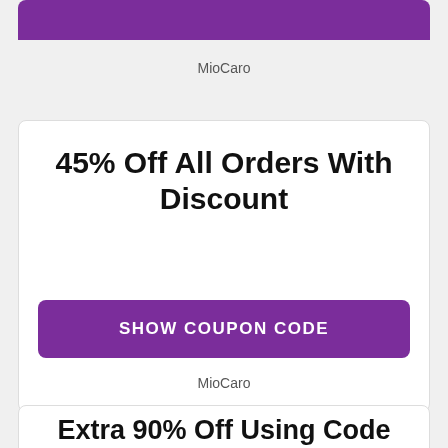[Figure (screenshot): Partial coupon card with purple button at top]
MioCaro
45% Off All Orders With Discount
SHOW COUPON CODE
MioCaro
Extra 90% Off Using Code